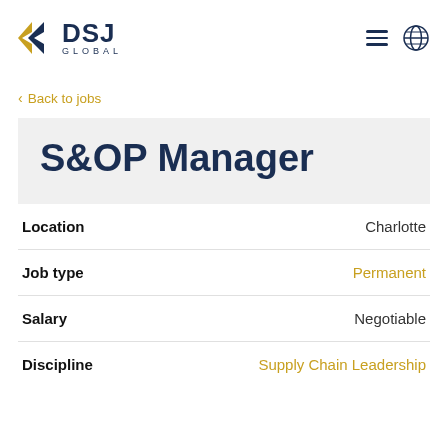[Figure (logo): DSJ Global logo with gold and navy chevron arrow icon and text DSJ GLOBAL]
< Back to jobs
S&OP Manager
| Field | Value |
| --- | --- |
| Location | Charlotte |
| Job type | Permanent |
| Salary | Negotiable |
| Discipline | Supply Chain Leadership |